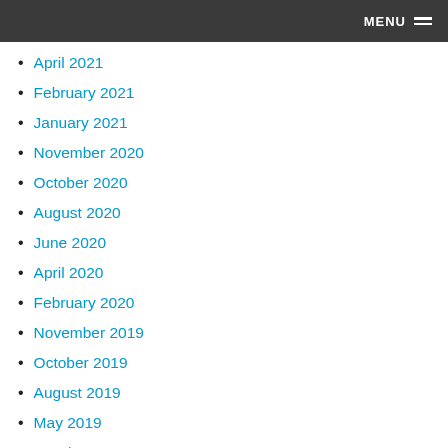MENU
April 2021
February 2021
January 2021
November 2020
October 2020
August 2020
June 2020
April 2020
February 2020
November 2019
October 2019
August 2019
May 2019
March 2019
December 2018
September 2018